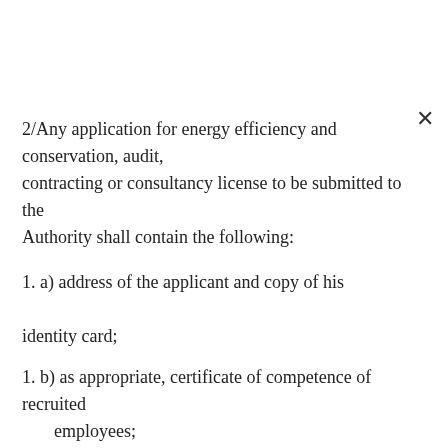2/Any application for energy efficiency and conservation, audit, contracting or consultancy license to be submitted to the Authority shall contain the following:
1. a) address of the applicant and copy of his identity card;
1. b) as appropriate, certificate of competence of recruited employees;
2. c) as appropriate, degree, diploma or certificate of competence acquired and